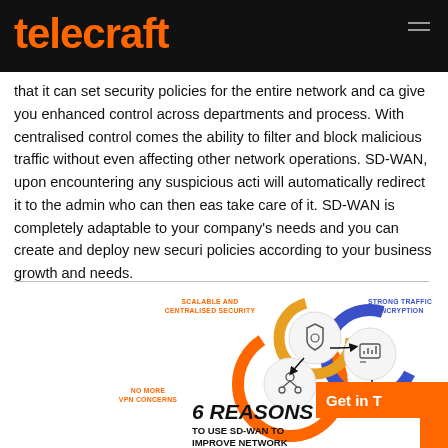telecraft
that it can set security policies for the entire network and can give you enhanced control across departments and processes. With centralised control comes the ability to filter and block malicious traffic without even affecting other network operations. SD-WAN, upon encountering any suspicious activity, will automatically redirect it to the admin who can then easily take care of it. SD-WAN is completely adaptable to your company's needs and you can create and deploy new security policies according to your business growth and needs.
[Figure (infographic): Infographic showing '6 REASONS TO USE SD-WAN TO IMPROVE NETWORK' with circular icons and labels including: SCALABLE AND CENTRALISED SECURITY (orange), STRONG TRAFFIC ENCRYPTION (blue), NO MORE VPN CONCERNS (orange). Features a shield icon and network icon in circular rings.]